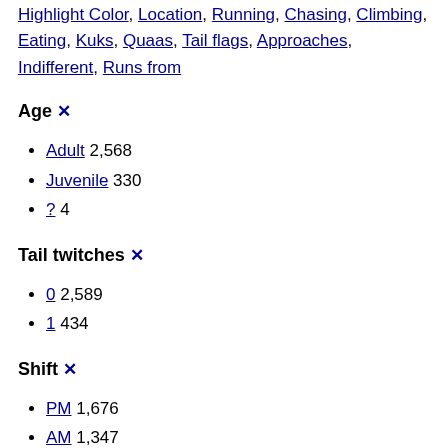Highlight Color, Location, Running, Chasing, Climbing, Eating, Kuks, Quaas, Tail flags, Approaches, Indifferent, Runs from
Age ✕
Adult 2,568
Juvenile 330
? 4
Tail twitches ✕
0 2,589
1 434
Shift ✕
PM 1,676
AM 1,347